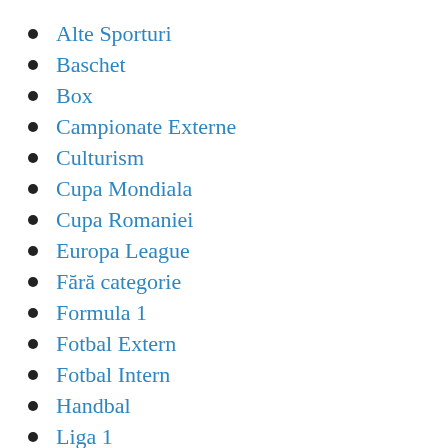Alte Sporturi
Baschet
Box
Campionate Externe
Culturism
Cupa Mondiala
Cupa Romaniei
Europa League
Fără categorie
Formula 1
Fotbal Extern
Fotbal Intern
Handbal
Liga 1
Liga Campionilor